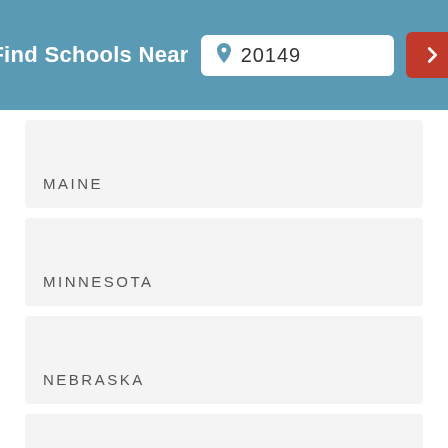Find Schools Near 20149
MAINE
MINNESOTA
NEBRASKA
NEW MEXICO